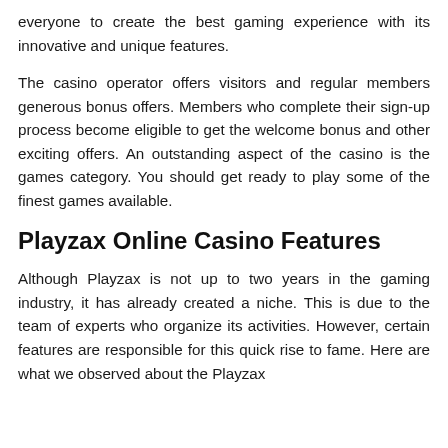everyone to create the best gaming experience with its innovative and unique features.
The casino operator offers visitors and regular members generous bonus offers. Members who complete their sign-up process become eligible to get the welcome bonus and other exciting offers. An outstanding aspect of the casino is the games category. You should get ready to play some of the finest games available.
Playzax Online Casino Features
Although Playzax is not up to two years in the gaming industry, it has already created a niche. This is due to the team of experts who organize its activities. However, certain features are responsible for this quick rise to fame. Here are what we observed about the Playzax